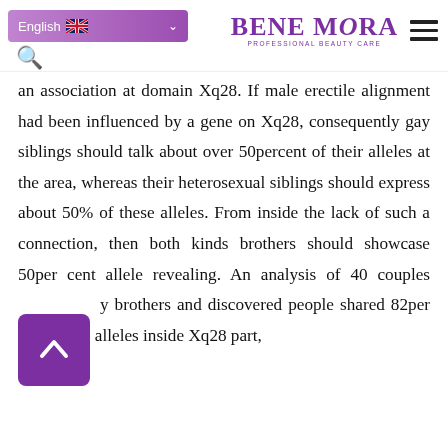English | BENE MORA PROFESSIONAL BEAUTY CARE
an association at domain Xq28. If male erectile alignment had been influenced by a gene on Xq28, consequently gay siblings should talk about over 50percent of their alleles at the area, whereas their heterosexual siblings should express about 50% of these alleles. From inside the lack of such a connection, then both kinds brothers should showcase 50per cent allele revealing. An analysis of 40 couples y brothers and discovered people shared 82per cent of the alleles inside Xq28 part,